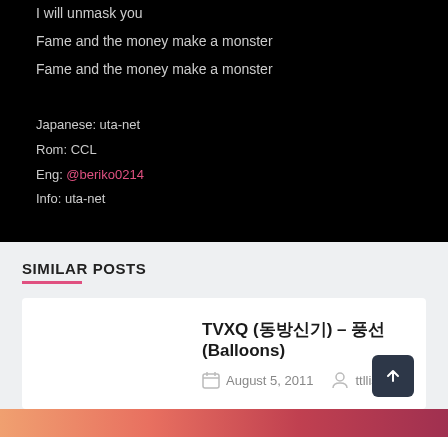I will unmask you
Fame and the money make a monster
Fame and the money make a monster
Japanese: uta-net
Rom: CCL
Eng: @beriko0214
Info: uta-net
SIMILAR POSTS
TVXQ (동방신기) – 풍선(Balloons)
August 5, 2011   ttllisten